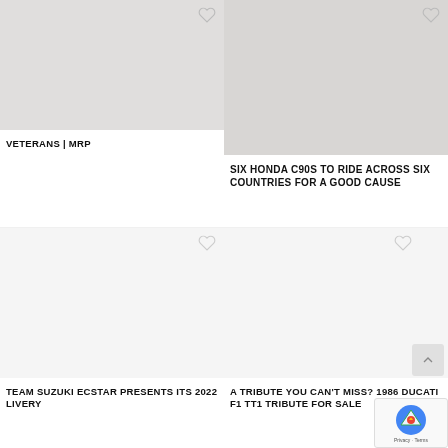[Figure (photo): Grayscale photo of veterans, partially visible at top]
[Figure (photo): Grayscale photo showing Honda C90 motorcycles riders]
VETERANS | MRP
SIX HONDA C90S TO RIDE ACROSS SIX COUNTRIES FOR A GOOD CAUSE
[Figure (photo): Blank/white image area for Suzuki Ecstar article]
[Figure (photo): Blank/white image area for Ducati TT1 article]
TEAM SUZUKI ECSTAR PRESENTS ITS 2022 LIVERY
A TRIBUTE YOU CAN'T MISS? 1986 DUCATI F1 TT1 TRIBUTE FOR SALE